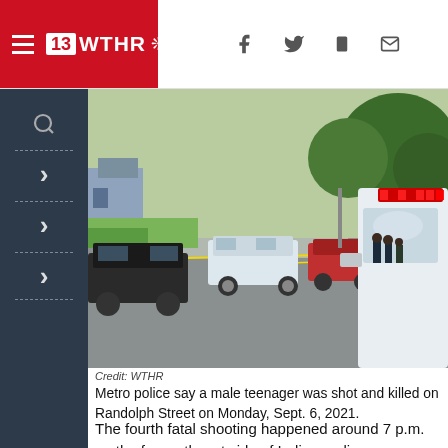13 WTHR NBC
[Figure (photo): Street scene with multiple police cars parked on a residential road, yellow crime scene tape, police officers in background, flashing red police lights on top of cruiser in foreground, green trees and houses visible]
Credit: WTHR
Metro police say a male teenager was shot and killed on Randolph Street on Monday, Sept. 6, 2021.
The fourth fatal shooting happened around 7 p.m. on the far northeast side of Indianapolis.
RELATED: Man killed in southeast Indianapolis shooting
Police were called to the 800 block of South Pasadena Street in the East Indy Mobile Estates neighborhood where